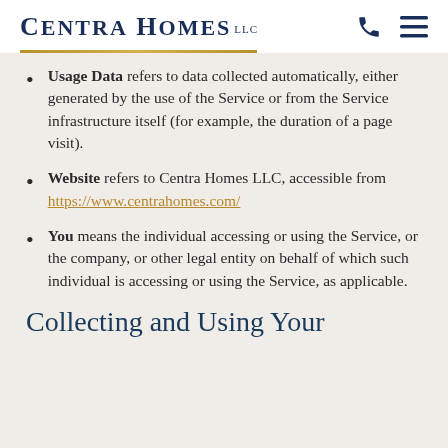Centra Homes LLC
Usage Data refers to data collected automatically, either generated by the use of the Service or from the Service infrastructure itself (for example, the duration of a page visit).
Website refers to Centra Homes LLC, accessible from https://www.centrahomes.com/
You means the individual accessing or using the Service, or the company, or other legal entity on behalf of which such individual is accessing or using the Service, as applicable.
Collecting and Using Your